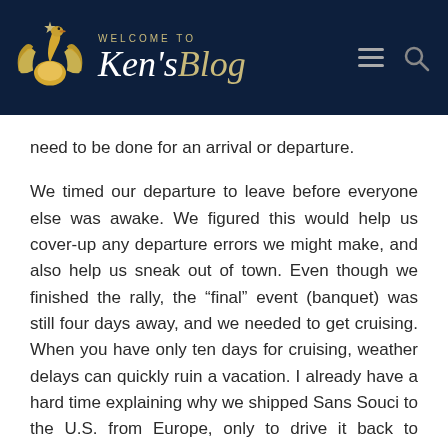WELCOME TO Ken'sBlog
need to be done for an arrival or departure.
We timed our departure to leave before everyone else was awake. We figured this would help us cover-up any departure errors we might make, and also help us sneak out of town. Even though we finished the rally, the “final” event (banquet) was still four days away, and we needed to get cruising. When you have only ten days for cruising, weather delays can quickly ruin a vacation. I already have a hard time explaining why we shipped Sans Souci to the U.S. from Europe, only to drive it back to Europe where, after we get our ten days of cruising, it will be shipped right back to the U.S. Each of